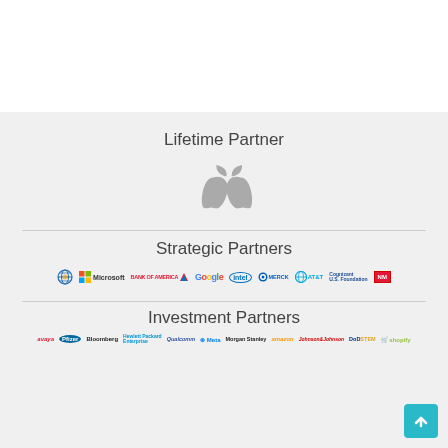Lifetime Partner
[Figure (logo): Apple logo (gray)]
Strategic Partners
[Figure (logo): Row of strategic partner logos: NSA/org logo, Microsoft, Bank of America, Google, Intel, Merck, AT&T, Cognizant U.S. Foundation, Neiman Marcus]
Investment Partners
[Figure (logo): Row of investment partner logos: Avaya, Pfizer, Bloomberg, Hewlett Packard Enterprise, Qualcomm, Meta, Morgan Stanley, Amazon, Johnson & Johnson, DoD STEM, Shopify]